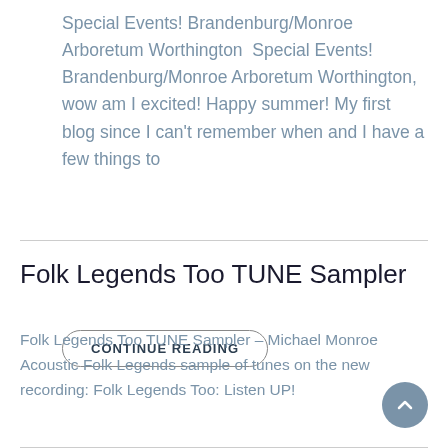Special Events! Brandenburg/Monroe Arboretum Worthington  Special Events! Brandenburg/Monroe Arboretum Worthington, wow am I excited! Happy summer! My first blog since I can't remember when and I have a few things to
CONTINUE READING
Folk Legends Too TUNE Sampler
Folk Legends Too TUNE Sampler – Michael Monroe Acoustic Folk Legends sample of tunes on the new recording: Folk Legends Too: Listen UP!